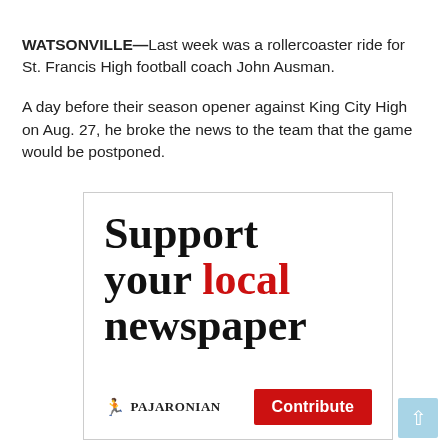WATSONVILLE—Last week was a rollercoaster ride for St. Francis High football coach John Ausman.
A day before their season opener against King City High on Aug. 27, he broke the news to the team that the game would be postponed.
[Figure (other): Advertisement for The Pajaronian newspaper. Large bold text reads 'Support your local newspaper' with 'local' in red. Bottom shows Pajaronian logo and a red 'Contribute' button.]